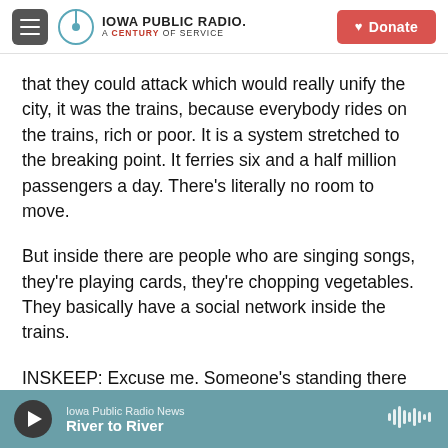Iowa Public Radio — A Century of Service | Donate
that they could attack which would really unify the city, it was the trains, because everybody rides on the trains, rich or poor. It is a system stretched to the breaking point. It ferries six and a half million passengers a day. There's literally no room to move.
But inside there are people who are singing songs, they're playing cards, they're chopping vegetables. They basically have a social network inside the trains.
INSKEEP: Excuse me. Someone's standing there
Iowa Public Radio News — River to River